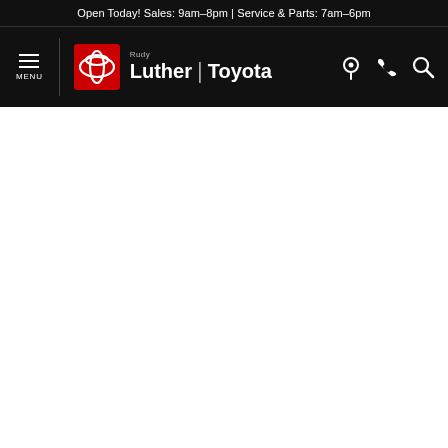Open Today! Sales: 9am–8pm | Service & Parts: 7am–6pm
[Figure (logo): Rudy Luther Toyota dealership navigation header with hamburger menu, Toyota logo in red square, brand name 'Rudy Luther | Toyota', and icons for location, phone, and search]